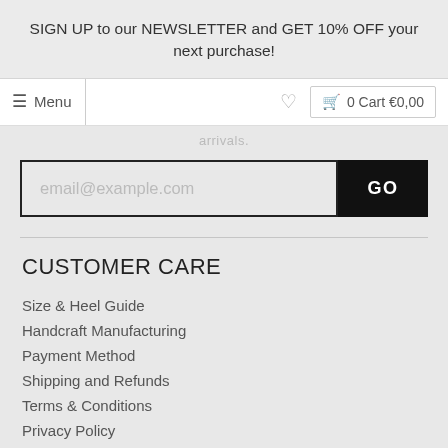SIGN UP to our NEWSLETTER and GET 10% OFF your next purchase!
≡ Menu   ♡   0 Cart €0,00
arrivals.
email@example.com   GO
CUSTOMER CARE
Size & Heel Guide
Handcraft Manufacturing
Payment Method
Shipping and Refunds
Terms & Conditions
Privacy Policy
Cookie Policy